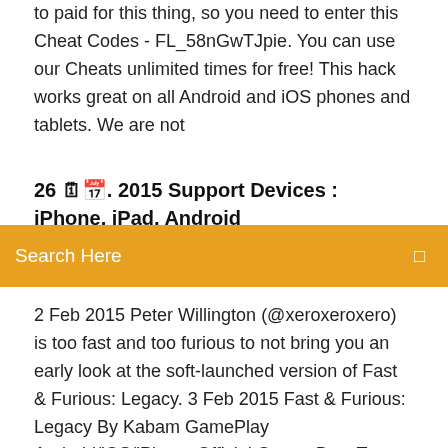to paid for this thing, so you need to enter this Cheat Codes - FL_58nGwTJpie. You can use our Cheats unlimited times for free! This hack works great on all Android and iOS phones and tablets. We are not
26 🗓📅. 2015 Support Devices : iPhone, iPad, Android
Search Here
2 Feb 2015 Peter Willington (@xeroxeroxero) is too fast and too furious to not bring you an early look at the soft-launched version of Fast & Furious: Legacy. 3 Feb 2015 Fast & Furious: Legacy By Kabam GamePlay Android/iOS/iPhone Official Game. Best Top Games.Universal Game  Tải miễn phí game đua xe Fast & Furious: Legacy cho iOS để tham gia vào những cuộc đua xe gay cấn và không tốc độ, với những loại siêu xe hoành tráng  Fast & Furious: Legacy cho iOS, Fast & Furious: Legacy for iOS là tựa game đua xe vô cùng hấp dẫn dựa theo bộ phim bom tấn cùng tên. Bạn có thể chơi Fast. 25 Mar 2015 Meteoritic